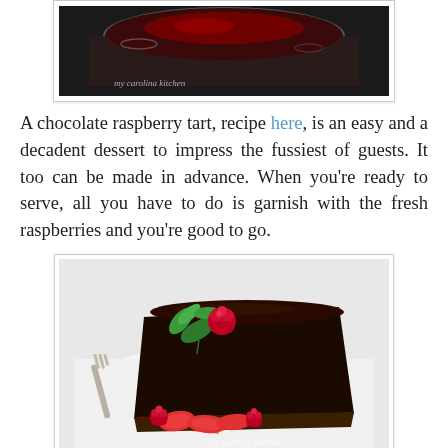[Figure (photo): Top portion of a chocolate raspberry tart in a glass dish, with 'my carolina kitchen' watermark, dark background]
A chocolate raspberry tart, recipe here, is an easy and a decadent dessert to impress the fussiest of guests. It too can be made in advance. When you're ready to serve, all you have to do is garnish with the fresh raspberries and you're good to go.
[Figure (photo): A slice of chocolate raspberry tart on a white plate, garnished with fresh raspberries, strawberry slices, and mint leaves, with a fork visible, 'my carolina kitchen' watermark]
This chocolate raspberry tart is really for all of the chocolate lovers